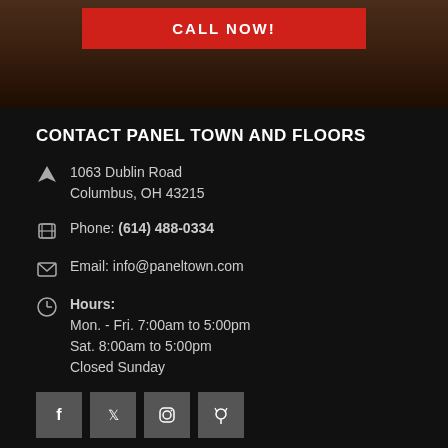[Figure (screenshot): Red CALL NOW button over dark wood background banner]
CONTACT PANEL TOWN AND FLOORS
1063 Dublin Road
Columbus, OH 43215
Phone: (614) 488-0334
Email: info@paneltown.com
Hours:
Mon. - Fri. 7:00am to 5:00pm
Sat. 8:00am to 5:00pm
Closed Sunday
[Figure (screenshot): Social media icon buttons: Facebook, Twitter, Instagram, Pinterest]
OUR PRODUCTS